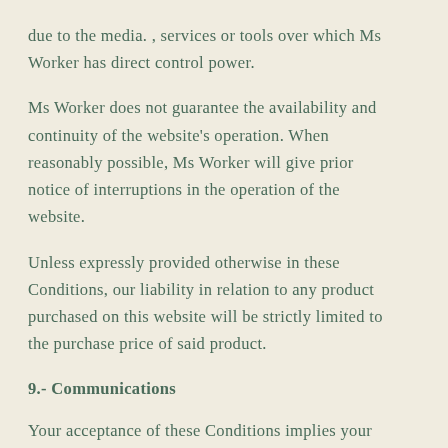due to the media. , services or tools over which Ms Worker has direct control power.
Ms Worker does not guarantee the availability and continuity of the website's operation. When reasonably possible, Ms Worker will give prior notice of interruptions in the operation of the website.
Unless expressly provided otherwise in these Conditions, our liability in relation to any product purchased on this website will be strictly limited to the purchase price of said product.
9.- Communications
Your acceptance of these Conditions implies your consent for communications of any kind to be made electronically (email), through the Customer Service